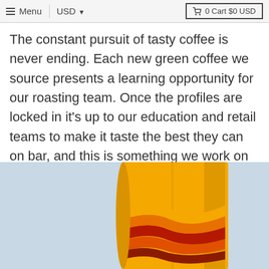≡ Menu  USD ▾  🛒 0 Cart $0 USD
The constant pursuit of tasty coffee is never ending. Each new green coffee we source presents a learning opportunity for our roasting team. Once the profiles are locked in it's up to our education and retail teams to make it taste the best they can on bar, and this is something we work on every single day. I'm always excited to drink our coffee, and more often than not am quite impressed!!!
[Figure (photo): Yellow coffee bag with orange and red wave stripe design on a light blue background]